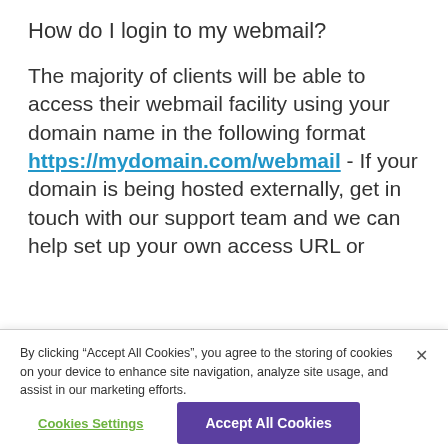How do I login to my webmail?
The majority of clients will be able to access their webmail facility using your domain name in the following format https://mydomain.com/webmail - If your domain is being hosted externally, get in touch with our support team and we can help set up your own access URL or
By clicking “Accept All Cookies”, you agree to the storing of cookies on your device to enhance site navigation, analyze site usage, and assist in our marketing efforts.
Cookies Settings
Accept All Cookies